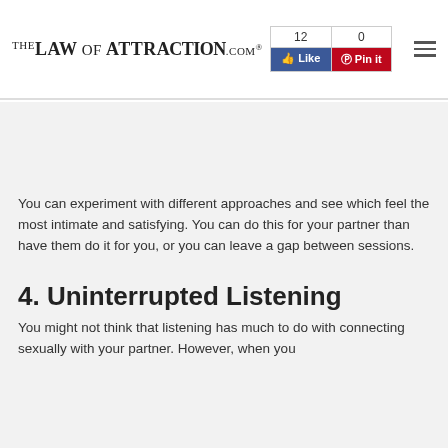THE LAW OF ATTRACTION.COM® | Like 12 | Pin it 0
You can experiment with different approaches and see which feel the most intimate and satisfying. You can do this for your partner than have them do it for you, or you can leave a gap between sessions.
4. Uninterrupted Listening
You might not think that listening has much to do with connecting sexually with your partner. However, when you